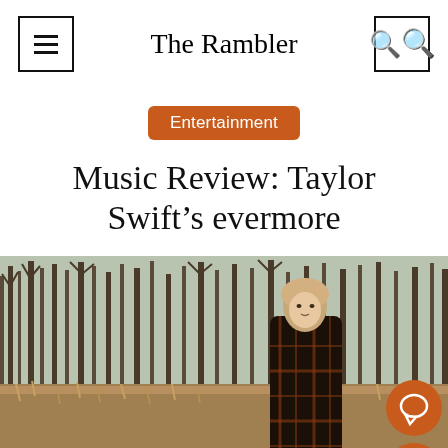The Rambler
Entertainment
Music Review: Taylor Swift’s evermore
[Figure (photo): Photo of Taylor Swift standing in a field with dry grass and bare winter trees in the background, wearing a dark plaid coat. Orange circular floating action buttons for comment and like are overlaid in the bottom right corner.]